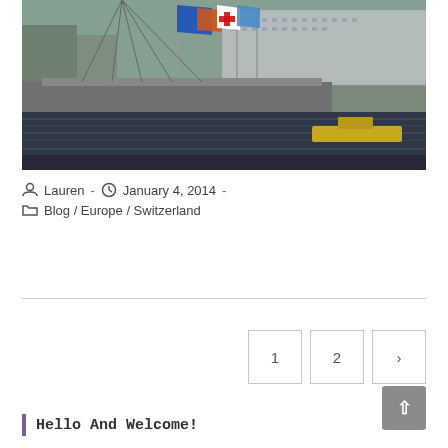[Figure (photo): Photo of a bridge over water with UN and other national flags flying on poles. A yellow boat is visible on the water. Buildings are visible in the background. Location appears to be Geneva, Switzerland.]
Lauren - January 4, 2014 - Blog / Europe / Switzerland
1  2  ›
Hello And Welcome!